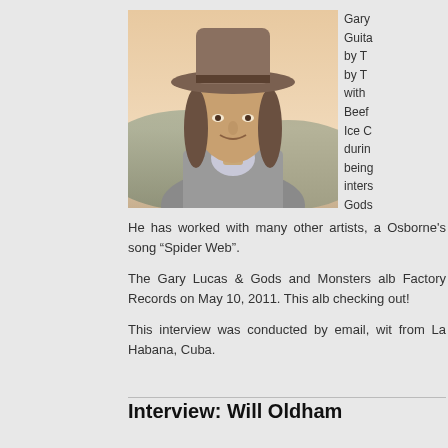[Figure (photo): Portrait photo of a man wearing a wide-brimmed hat and grey jacket, with long hair, smiling slightly, outdoor background with soft sky.]
Gary
Guita
by T
by T
with
Beef
Ice C
duri
bein
inter
Gods
He has worked with many other artists, a Osborne's song “Spider Web”.
The Gary Lucas & Gods and Monsters alb Factory Records on May 10, 2011. This alb checking out!
This interview was conducted by email, wit from La Habana, Cuba.
Interview: Will Oldham